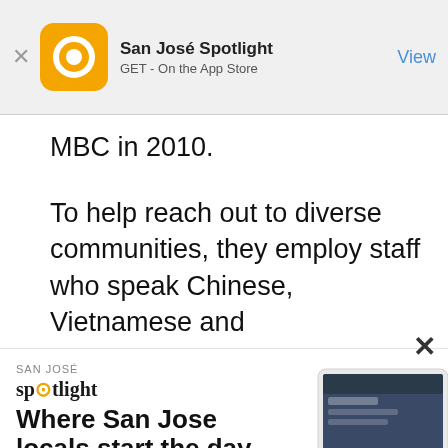[Figure (screenshot): App Store banner for San José Spotlight app with orange chat bubble icon, text 'San José Spotlight', 'GET - On the App Store', and a blue 'View' link on the right]
MBC in 2010.
To help reach out to diverse communities, they employ staff who speak Chinese, Vietnamese and
[Figure (advertisement): San Jose Spotlight advertisement showing logo, headline 'Where San Jose locals start the day.' and URL sanjosespotlight.com with tablet device image, with a close X button]
[Figure (screenshot): Dark newsletter signup section with email address input field, yellow SUBSCRIBE button, and yellow text 'Thanks, I'm not interested or already a subscriber']